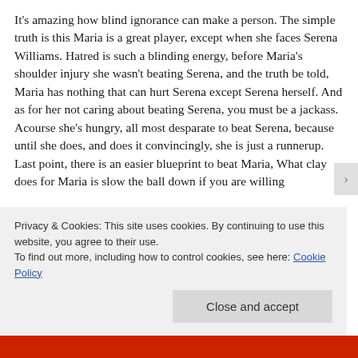It's amazing how blind ignorance can make a person. The simple truth is this Maria is a great player, except when she faces Serena Williams. Hatred is such a blinding energy, before Maria's shoulder injury she wasn't beating Serena, and the truth be told, Maria has nothing that can hurt Serena except Serena herself. And as for her not caring about beating Serena, you must be a jackass. Acourse she's hungry, all most desparate to beat Serena, because until she does, and does it convincingly, she is just a runnerup. Last point, there is an easier blueprint to beat Maria, What clay does for Maria is slow the ball down if you are willing
Privacy & Cookies: This site uses cookies. By continuing to use this website, you agree to their use.
To find out more, including how to control cookies, see here: Cookie Policy